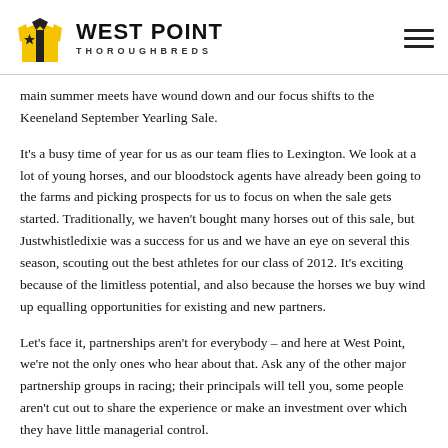WEST POINT THOROUGHBREDS
main summer meets have wound down and our focus shifts to the Keeneland September Yearling Sale.
It's a busy time of year for us as our team flies to Lexington. We look at a lot of young horses, and our bloodstock agents have already been going to the farms and picking prospects for us to focus on when the sale gets started. Traditionally, we haven't bought many horses out of this sale, but Justwhistledixie was a success for us and we have an eye on several this season, scouting out the best athletes for our class of 2012. It's exciting because of the limitless potential, and also because the horses we buy wind up equalling opportunities for existing and new partners.
Let's face it, partnerships aren't for everybody – and here at West Point, we're not the only ones who hear about that. Ask any of the other major partnership groups in racing; their principals will tell you, some people aren't cut out to share the experience or make an investment over which they have little managerial control.
On the other hand, a partnership with West Point is a lifestyle